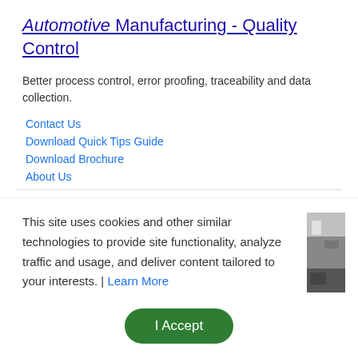Automotive Manufacturing - Quality Control
Better process control, error proofing, traceability and data collection.
Contact Us
Download Quick Tips Guide
Download Brochure
About Us
Ad · https://www.epconlp.com/
Automotive Industry - Automotive Industry Provider
This site uses cookies and other similar technologies to provide site functionality, analyze traffic and usage, and deliver content tailored to your interests. | Learn More
I Accept